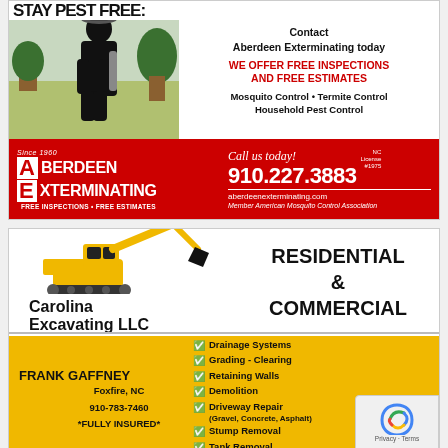[Figure (infographic): Aberdeen Exterminating advertisement. Top section: woman in black pest control uniform on left, right side text: 'Contact Aberdeen Exterminating today', 'WE OFFER FREE INSPECTIONS AND FREE ESTIMATES' in red, 'Mosquito Control • Termite Control Household Pest Control'. Bottom red section: Aberdeen Exterminating logo on left, 'Call us today! 910.227.3883', aberdeenexterminating.com, 'Member American Mosquito Control Association', NC License #1975.]
[Figure (infographic): Carolina Excavating LLC advertisement. Top: excavator logo and company name, 'RESIDENTIAL & COMMERCIAL'. Bottom yellow ribbon: 'FRANK GAFFNEY, Foxfire, NC, 910-783-7460, *FULLY INSURED*'. Services: Drainage Systems, Grading - Clearing, Retaining Walls, Demolition, Driveway Repair (Gravel, Concrete, Asphalt), Stump Removal, Tank Removal.]